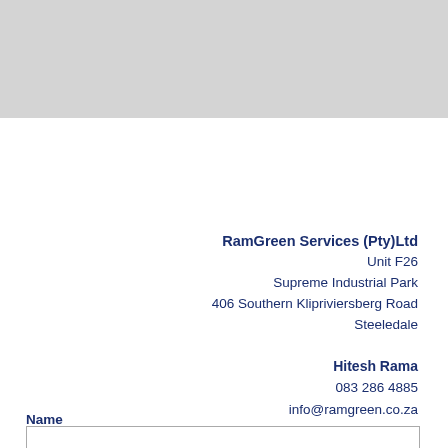[Figure (other): Grey banner/header area at top of page]
RamGreen Services (Pty)Ltd
Unit F26
Supreme Industrial Park
406 Southern Klipriviersberg Road
Steeledale
Hitesh Rama
083 286 4885
info@ramgreen.co.za
Name